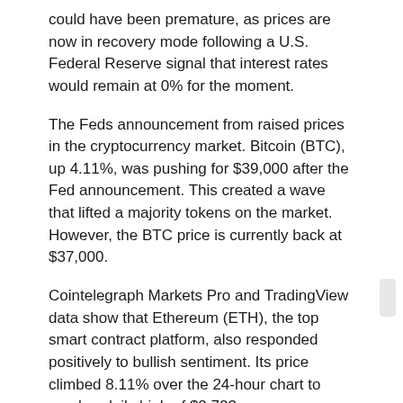could have been premature, as prices are now in recovery mode following a U.S. Federal Reserve signal that interest rates would remain at 0% for the moment.
The Feds announcement from raised prices in the cryptocurrency market. Bitcoin (BTC), up 4.11%, was pushing for $39,000 after the Fed announcement. This created a wave that lifted a majority tokens on the market. However, the BTC price is currently back at $37,000.
Cointelegraph Markets Pro and TradingView data show that Ethereum (ETH), the top smart contract platform, also responded positively to bullish sentiment. Its price climbed 8.11% over the 24-hour chart to reach a daily high of $2,723.
ETH/USDT 1-day chart. Source: TradingView
Here are some thoughts from market analysts about